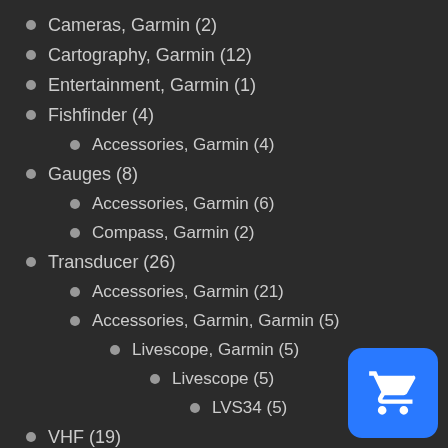Cameras, Garmin (2)
Cartography, Garmin (12)
Entertainment, Garmin (1)
Fishfinder (4)
Accessories, Garmin (4)
Gauges (8)
Accessories, Garmin (6)
Compass, Garmin (2)
Transducer (26)
Accessories, Garmin (21)
Accessories, Garmin, Garmin (5)
Livescope, Garmin (5)
Livescope (5)
LVS34 (5)
VHF (19)
Accessories, Garmin (14)
[Figure (illustration): Blue shopping cart button icon in bottom right corner]